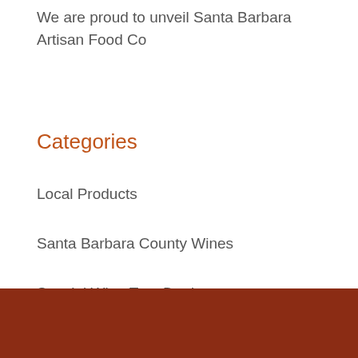We are proud to unveil Santa Barbara Artisan Food Co
Categories
Local Products
Santa Barbara County Wines
Special Wine Tour Deals
Wine Harvest
Wine Tour info